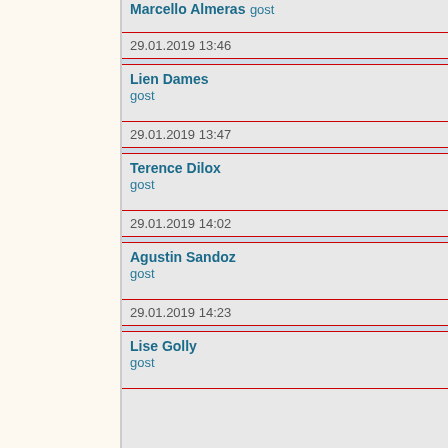Marcello Almeras
gost
29.01.2019 13:46
Lien Dames
gost
29.01.2019 13:47
Terence Dilox
gost
29.01.2019 14:02
Agustin Sandoz
gost
29.01.2019 14:23
Lise Golly
gost